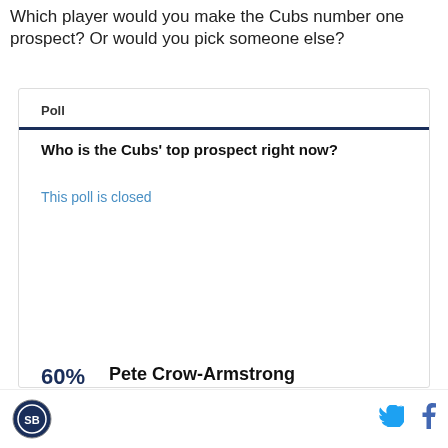Which player would you make the Cubs number one prospect? Or would you pick someone else?
Poll
Who is the Cubs' top prospect right now?
This poll is closed
[Figure (bar-chart): Who is the Cubs' top prospect right now?]